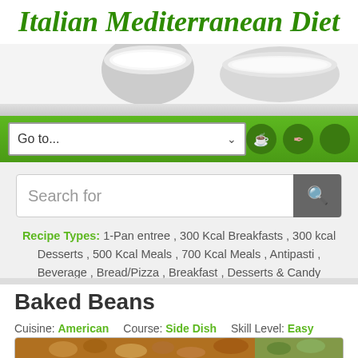Italian Mediterranean Diet
[Figure (photo): Header image with two ceramic bowls containing white ingredients (flour/sugar/rice) on a light background]
Go to...
Search for
Recipe Types: 1-Pan entree , 300 Kcal Breakfasts , 300 kcal Desserts , 500 Kcal Meals , 700 Kcal Meals , Antipasti , Beverage , Bread/Pizza , Breakfast , Desserts & Candy
Baked Beans
Cuisine: American   Course: Side Dish   Skill Level: Easy
[Figure (photo): Photo of baked beans dish, partially visible at bottom of page]